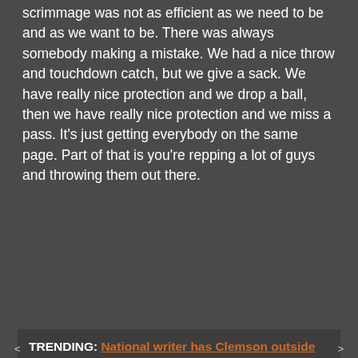scrimmage was not as efficient as we need to be and as we want to be. There was always somebody making a mistake. We had a nice throw and touchdown catch, but we give a sack. We have really nice protection and we drop a ball, then we have really nice protection and we miss a pass. It's just getting everybody on the same page. Part of that is you're repping a lot of guys and throwing them out there.
TRENDING: National writer has Clemson outside New Year's Six bowls in projections
< >